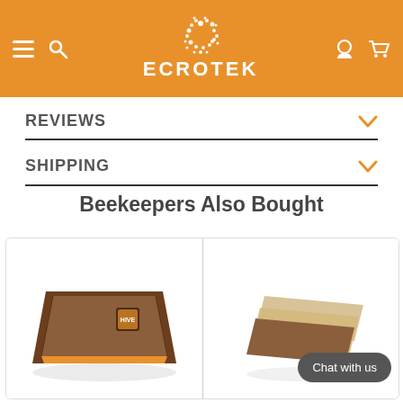ECROTEK
REVIEWS
SHIPPING
Beekeepers Also Bought
[Figure (photo): Beekeeping product - flat tray/mat with orange accent and Hive brand logo sticker]
[Figure (photo): Beekeeping product - thin flat sheets/boards stacked with Chat with us button overlay]